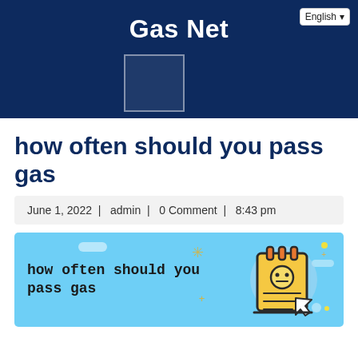Gas Net
[Figure (other): Language selector dropdown showing 'English' in top right of dark blue header]
[Figure (other): Placeholder/logo box outline in header area]
how often should you pass gas
June 1, 2022 | admin | 0 Comment | 8:43 pm
[Figure (illustration): Light blue banner image with bold monospace text 'how often should you pass gas' on left, and a cartoon notepad/clipboard icon with a cursor arrow on the right, decorative stars and dots]